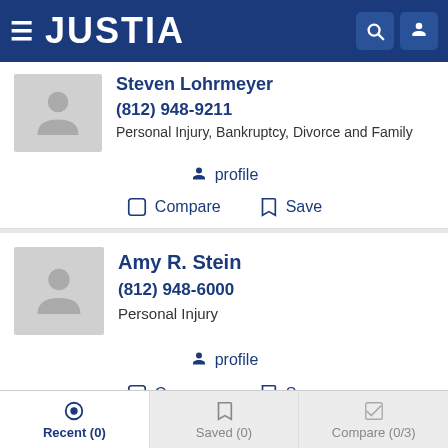JUSTIA
Steven Lohrmeyer
(812) 948-9211
Personal Injury, Bankruptcy, Divorce and Family
profile
Compare   Save
Amy R. Stein
(812) 948-6000
Personal Injury
profile
Compare   Save
Recent (0)   Saved (0)   Compare (0/3)